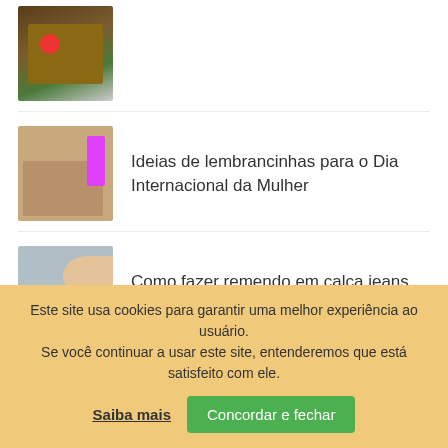[Figure (photo): Thumbnail of felt craft house with small figures and a red heart]
[Figure (photo): Thumbnail of small gift packages/lembrancinhas tied with ribbon with pens]
Ideias de lembrancinhas para o Dia Internacional da Mulher
[Figure (photo): Thumbnail of hands working on jeans fabric with a ruler]
Como fazer remendo em calça jeans rasgada entre as pernas
Este site usa cookies para garantir uma melhor experiência ao usuário.
Se você continuar a usar este site, entenderemos que está satisfeito com ele.
Saiba mais  Concordar e fechar